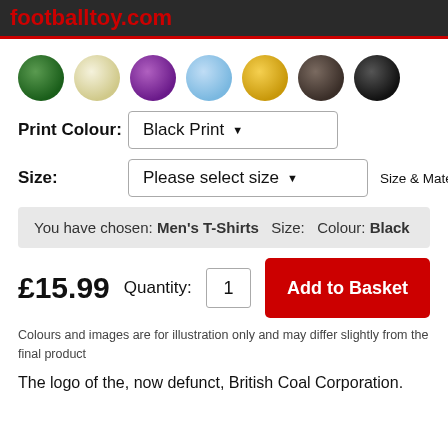footballtoy.com
[Figure (illustration): Seven color swatches as spherical balls: dark green, cream/ivory, purple, light blue, gold/yellow, dark brown, black]
Print Colour: Black Print
Size: Please select size   Size & Material Guide (i)
You have chosen: Men's T-Shirts  Size:  Colour: Black
£15.99  Quantity: 1  Add to Basket
Colours and images are for illustration only and may differ slightly from the final product
The logo of the, now defunct, British Coal Corporation.